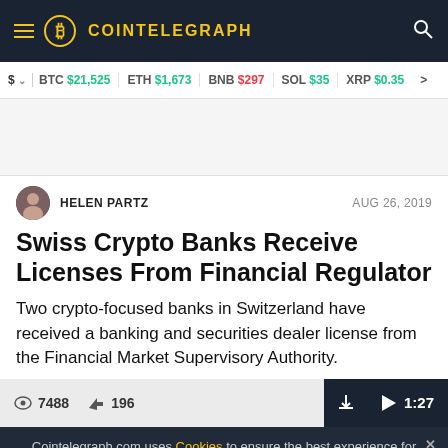COINTELEGRAPH
$ BTC $21,525  ETH $1,673  BNB $297  SOL $35  XRP $0.35
[Figure (photo): Article header image placeholder]
HELEN PARTZ   AUG 26, 2019
Swiss Crypto Banks Receive Licenses From Financial Regulator
Two crypto-focused banks in Switzerland have received a banking and securities dealer license from the Financial Market Supervisory Authority.
7488   196   1:27
Cointelegraph.com uses Cookies to ensure the best experience for you.